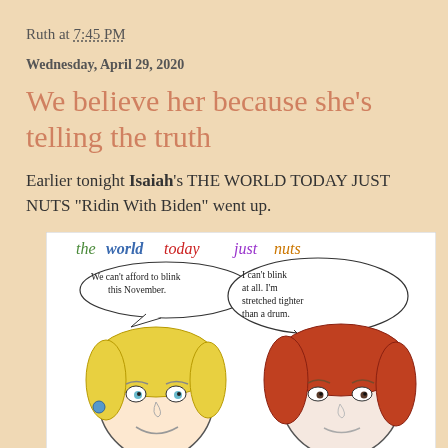Ruth at 7:45 PM
Wednesday, April 29, 2020
We believe her because she's telling the truth
Earlier tonight Isaiah's THE WORLD TODAY JUST NUTS "Ridin With Biden" went up.
[Figure (illustration): A hand-drawn cartoon titled 'the world today just nuts' showing two caricatured faces with speech bubbles. Left figure with blonde hair says 'We can't afford to blink this November.' Right figure with reddish-brown hair says 'I can't blink at all. I'm stretched tighter than a drum.']